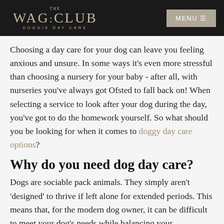THE WAG CLUB DOGGIE DAY CARE | MENU
Choosing a day care for your dog can leave you feeling anxious and unsure. In some ways it's even more stressful than choosing a nursery for your baby - after all, with nurseries you've always got Ofsted to fall back on! When selecting a service to look after your dog during the day, you've got to do the homework yourself. So what should you be looking for when it comes to doggy day care options?
Why do you need dog day care?
Dogs are sociable pack animals. They simply aren't 'designed' to thrive if left alone for extended periods. This means that, for the modern dog owner, it can be difficult to meet your dog's needs while balancing your commitments of work, family, exercise, hobbies and more. Doggy day care meets your dog's need for